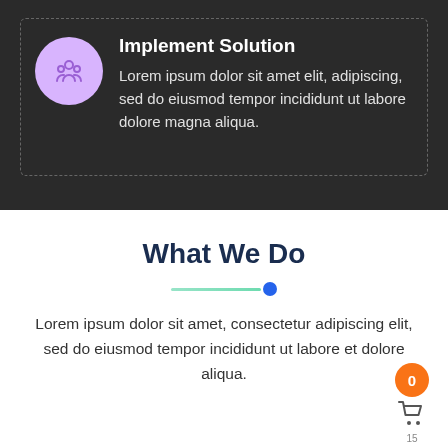Implement Solution
Lorem ipsum dolor sit amet elit, adipiscing, sed do eiusmod tempor incididunt ut labore dolore magna aliqua.
What We Do
Lorem ipsum dolor sit amet, consectetur adipiscing elit, sed do eiusmod tempor incididunt ut labore et dolore aliqua.